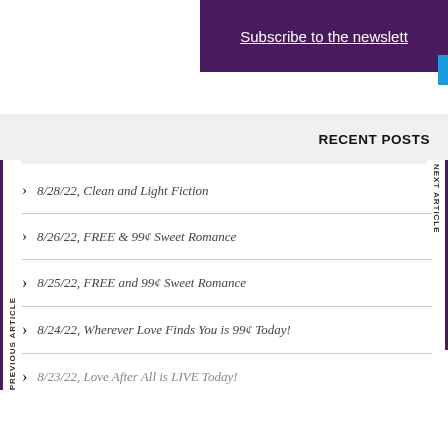Subscribe to the newsletter
RECENT POSTS
8/28/22, Clean and Light Fiction
8/26/22, FREE & 99¢ Sweet Romance
8/25/22, FREE and 99¢ Sweet Romance
8/24/22, Wherever Love Finds You is 99¢ Today!
8/23/22, Love After All is LIVE Today!